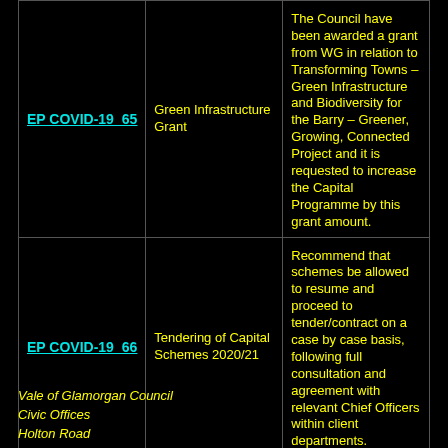| Reference | Scheme | Description |
| --- | --- | --- |
| EP COVID-19  65 | Green Infrastructure Grant | The Council have been awarded a grant from WG in relation to Transforming Towns – Green Infrastructure and Biodiversity for the Barry – Greener, Growing, Connected Project and it is requested to increase the Capital Programme by this grant amount. |
| EP COVID-19  66 | Tendering of Capital Schemes 2020/21 | Recommend that schemes be allowed to resume and proceed to tender/contract on a case by case basis, following full consultation and agreement with relevant Chief Officers within client departments. |
Vale of Glamorgan Council
Civic Offices
Holton Road